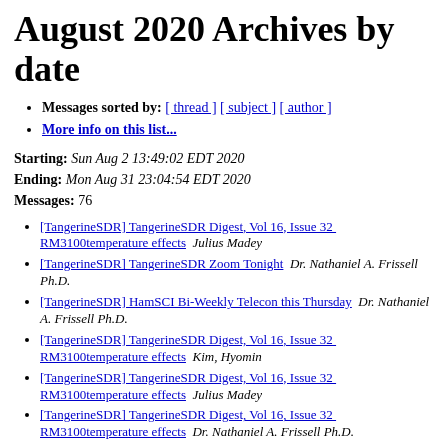August 2020 Archives by date
Messages sorted by: [ thread ] [ subject ] [ author ]
More info on this list...
Starting: Sun Aug 2 13:49:02 EDT 2020
Ending: Mon Aug 31 23:04:54 EDT 2020
Messages: 76
[TangerineSDR] TangerineSDR Digest, Vol 16, Issue 32  RM3100temperature effects   Julius Madey
[TangerineSDR] TangerineSDR Zoom Tonight   Dr. Nathaniel A. Frissell Ph.D.
[TangerineSDR] HamSCI Bi-Weekly Telecon this Thursday   Dr. Nathaniel A. Frissell Ph.D.
[TangerineSDR] TangerineSDR Digest, Vol 16, Issue 32  RM3100temperature effects   Kim, Hyomin
[TangerineSDR] TangerineSDR Digest, Vol 16, Issue 32  RM3100temperature effects   Julius Madey
[TangerineSDR] TangerineSDR Digest, Vol 16, Issue 32  RM3100temperature effects   Dr. Nathaniel A. Frissell Ph.D.
[TangerineSDR] Notes from PSWS / TangerineSDR call of 08.02.2020   Tom McDermott